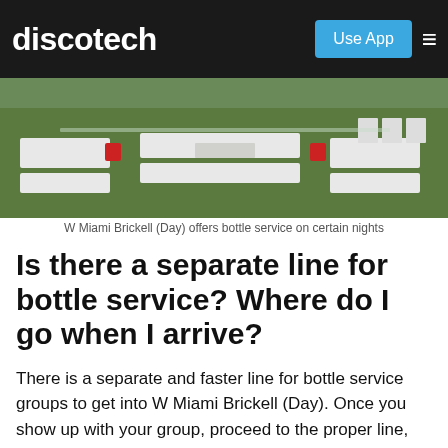discotech | Use App
[Figure (photo): Aerial or elevated view of W Miami Brickell (Day) outdoor lounge area with white seating, red cushions, and green grass areas]
W Miami Brickell (Day) offers bottle service on certain nights
Is there a separate line for bottle service? Where do I go when I arrive?
There is a separate and faster line for bottle service groups to get into W Miami Brickell (Day). Once you show up with your group, proceed to the proper line, and drop your name to a staff member. Be sure to tell them that you have a table. They will take care of you and you will get your expedited entry.